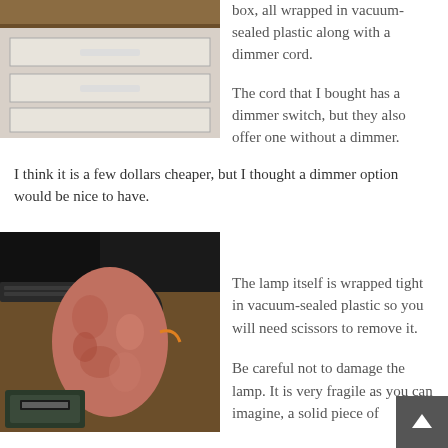[Figure (photo): Photo of a drawer or cabinet with white drawer fronts against a wood surface]
box, all wrapped in vacuum-sealed plastic along with a dimmer cord.
The cord that I bought has a dimmer switch, but they also offer one without a dimmer.
I think it is a few dollars cheaper, but I thought a dimmer option would be nice to have.
[Figure (photo): Photo of a Himalayan salt lamp wrapped in vacuum-sealed plastic sitting on a desk with a keyboard, mouse, and small digital scale nearby]
The lamp itself is wrapped tight in vacuum-sealed plastic so you will need scissors to remove it.
Be careful not to damage the lamp. It is very fragile as you can imagine, a solid piece of